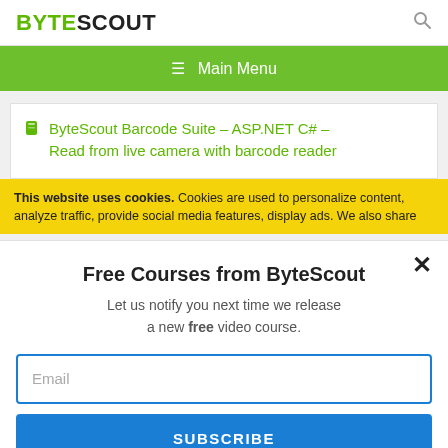BYTESCOUT
≡  Main Menu
ByteScout Barcode Suite – ASP.NET C# – Read from live camera with barcode reader
This website uses cookies. Cookies are used to personalize content, analyze traffic, provide social media features, display ads. We also share
Free Courses from ByteScout
Let us notify you next time we release a new free video course.
Email
SUBSCRIBE